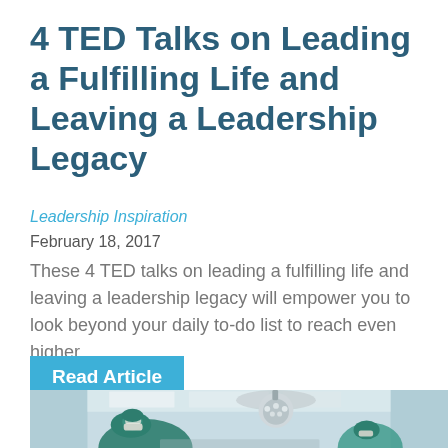4 TED Talks on Leading a Fulfilling Life and Leaving a Leadership Legacy
Leadership Inspiration
February 18, 2017
These 4 TED talks on leading a fulfilling life and leaving a leadership legacy will empower you to look beyond your daily to-do list to reach even higher.
Read Article
[Figure (photo): Medical professionals in surgical attire working in an operating room with overhead surgical lights]